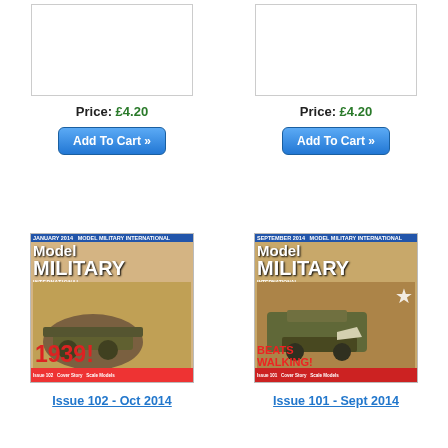[Figure (illustration): Empty product image box placeholder - left column top]
Price: £4.20
Add To Cart »
[Figure (illustration): Empty product image box placeholder - right column top]
Price: £4.20
Add To Cart »
[Figure (illustration): Model Military International magazine cover - Issue 102 Oct 2014, featuring 1939 theme with tank models]
Issue 102 - Oct 2014
[Figure (illustration): Model Military International magazine cover - Issue 101 Sept 2014, Beats Walking theme with half-track model]
Issue 101 - Sept 2014